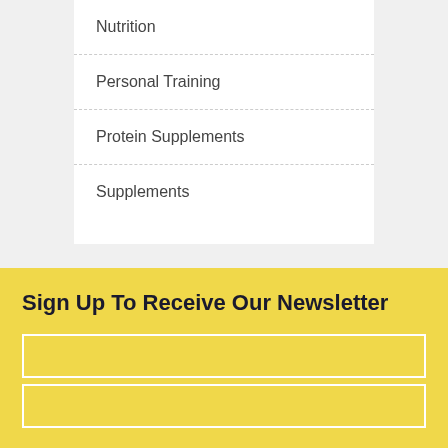Nutrition
Personal Training
Protein Supplements
Supplements
Sign Up To Receive Our Newsletter